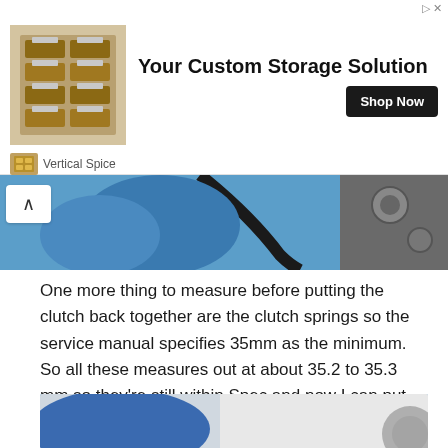[Figure (photo): Advertisement banner for Vertical Spice custom storage solution with spice rack image and Shop Now button]
[Figure (photo): Close-up photo of blue gloved hands working on a motorcycle clutch mechanism]
One more thing to measure before putting the clutch back together are the clutch springs so the service manual specifies 35mm as the minimum. So all these measures out at about 35.2 to 35.3 mm so they're still within Spec and now I can put him in the bike then the bolts to be tightened evenly.
[Figure (photo): Photo of blue gloved hands holding motorcycle clutch parts against white background]